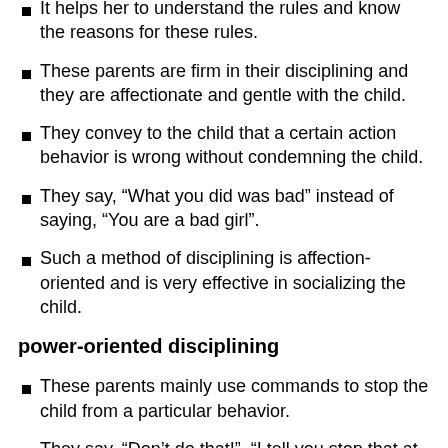It helps her to understand the rules and know the reasons for these rules.
These parents are firm in their disciplining and they are affectionate and gentle with the child.
They convey to the child that a certain action behavior is wrong without condemning the child.
They say, “What you did was bad” instead of saying, “You are a bad girl”.
Such a method of disciplining is affection-oriented and is very effective in socializing the child.
power-oriented disciplining
These parents mainly use commands to stop the child from a particular behavior.
They say, “Don’t do that!”, “I tell you stop that at once!”, without giving the child a reason for why they want her to stop that behavior.